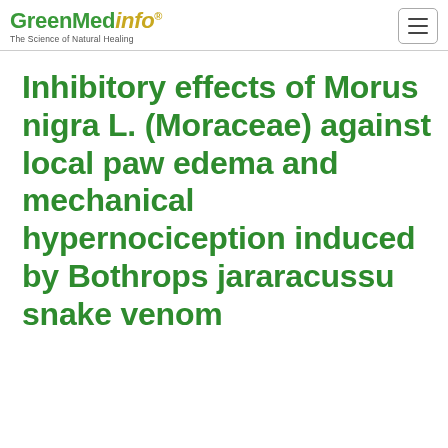GreenMedinfo — The Science of Natural Healing
Inhibitory effects of Morus nigra L. (Moraceae) against local paw edema and mechanical hypernociception induced by Bothrops jararacussu snake venom